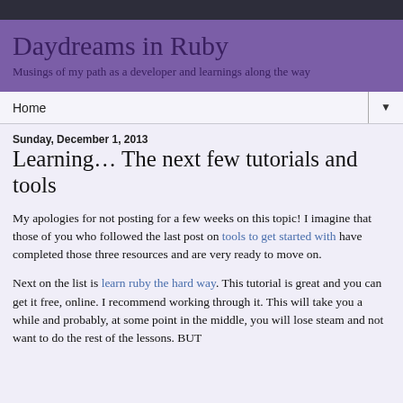Daydreams in Ruby — Musings of my path as a developer and learnings along the way
Daydreams in Ruby
Musings of my path as a developer and learnings along the way
Home ▼
Sunday, December 1, 2013
Learning… The next few tutorials and tools
My apologies for not posting for a few weeks on this topic! I imagine that those of you who followed the last post on tools to get started with have completed those three resources and are very ready to move on.
Next on the list is learn ruby the hard way. This tutorial is great and you can get it free, online. I recommend working through it. This will take you a while and probably, at some point in the middle, you will lose steam and not want to do the rest of the lessons. BUT